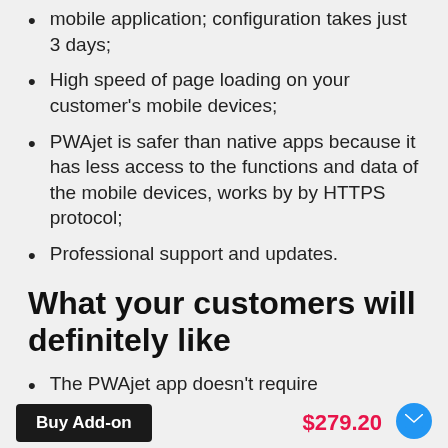mobile application; configuration takes just 3 days;
High speed of page loading on your customer's mobile devices;
PWAjet is safer than native apps because it has less access to the functions and data of the mobile devices, works by by HTTPS protocol;
Professional support and updates.
What your customers will definitely like
The PWAjet app doesn't require
Buy Add-on
$279.20